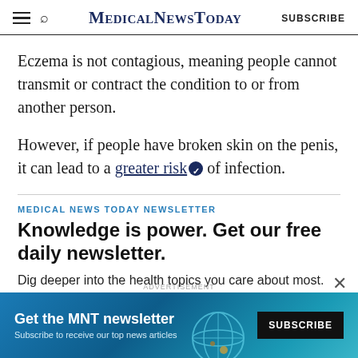MEDICALNEWSTODAY | SUBSCRIBE
Eczema is not contagious, meaning people cannot transmit or contract the condition to or from another person.
However, if people have broken skin on the penis, it can lead to a greater risk of infection.
MEDICAL NEWS TODAY NEWSLETTER
Knowledge is power. Get our free daily newsletter.
Dig deeper into the health topics you care about most.
[Figure (screenshot): Advertisement banner for MNT newsletter: 'Get the MNT newsletter — Subscribe to receive our top news articles' with a SUBSCRIBE button on dark background, blue gradient with globe graphic]